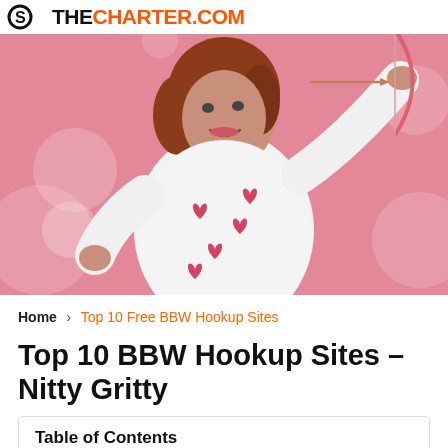THECHARTER.COM
[Figure (photo): Woman with red hair wearing a white top with red hearts, holding a bow and arrow against a pink background with white bokeh circles]
Home › Top 10 Free BBW Hookup Sites
Top 10 BBW Hookup Sites – Nitty Gritty
Table of Contents